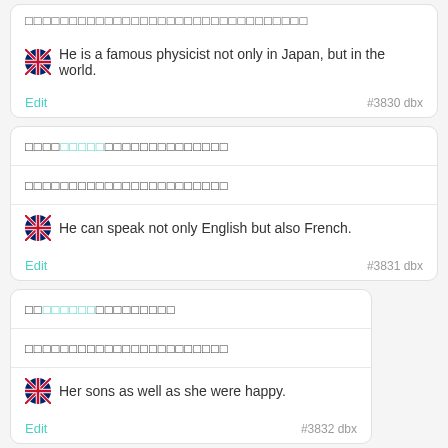aaaaaaaaaaaaaaaaaaaaaaaaaaaaaaaa (partial top card Japanese text)
He is a famous physicist not only in Japan, but in the world.
Edit  #3830 dbx
aaaaaaaaaaaaaaaaaaaaaaaaaa (Japanese with highlight)
aaaaaaaaaaaaaaaaaaaaaaaaa (Japanese subtitle)
He can speak not only English but also French.
Edit  #3831 dbx
aaaaaaaaaaaaaaaaaaa (Japanese with highlight)
aaaaaaaaaaaaaaaaaaaaaaaa (Japanese subtitle)
Her sons as well as she were happy.
Edit  #3832 dbx
aaaaaaaaaaaaa (partial bottom card Japanese text with highlight)